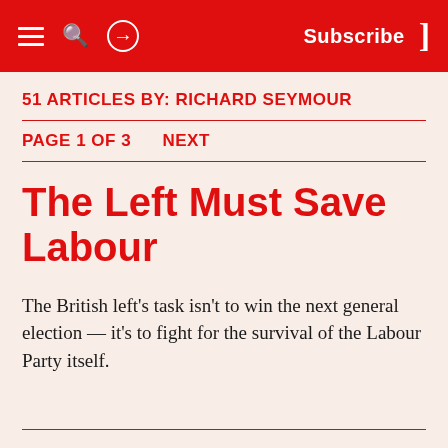Subscribe
51 ARTICLES BY: RICHARD SEYMOUR
PAGE 1 OF 3    NEXT
The Left Must Save Labour
The British left's task isn't to win the next general election — it's to fight for the survival of the Labour Party itself.